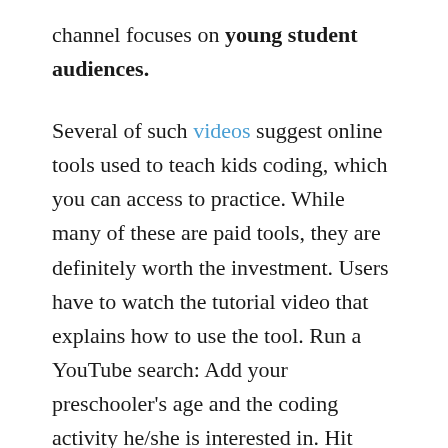channel focuses on young student audiences. Several of such videos suggest online tools used to teach kids coding, which you can access to practice. While many of these are paid tools, they are definitely worth the investment. Users have to watch the tutorial video that explains how to use the tool. Run a YouTube search: Add your preschooler's age and the coding activity he/she is interested in. Hit search and find the video that the preschooler is